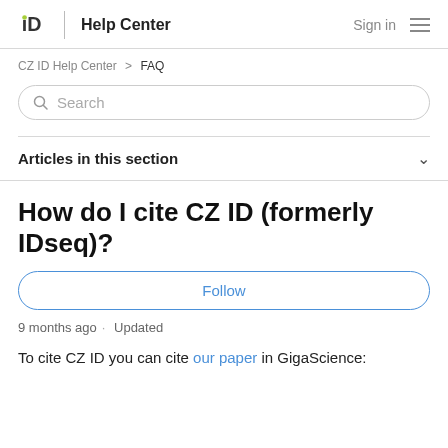iD  Help Center   Sign in
CZ ID Help Center > FAQ
Search
Articles in this section
How do I cite CZ ID (formerly IDseq)?
Follow
9 months ago · Updated
To cite CZ ID you can cite our paper in GigaScience: